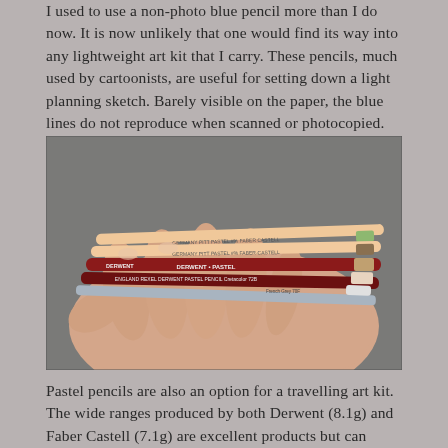I used to use a non-photo blue pencil more than I do now. It is now unlikely that one would find its way into any lightweight art kit that I carry. These pencils, much used by cartoonists, are useful for setting down a light planning sketch. Barely visible on the paper, the blue lines do not reproduce when scanned or photocopied.
[Figure (photo): A hand holding several pastel pencils including Derwent Pastel, Rexel Derwent Pastel Pencil, and Faber-Castell Pitt Pastel pencils of various colors.]
Pastel pencils are also an option for a travelling art kit. The wide ranges produced by both Derwent (8.1g) and Faber Castell (7.1g) are excellent products but can smear easily. Those from Faber Castell are the more robust. My preference amongst these are the lovely tones from the 60 wide Pitt Pastel range. These are a fairly soft pencil, if these are found too soft then Cretacolor pastels are probably the